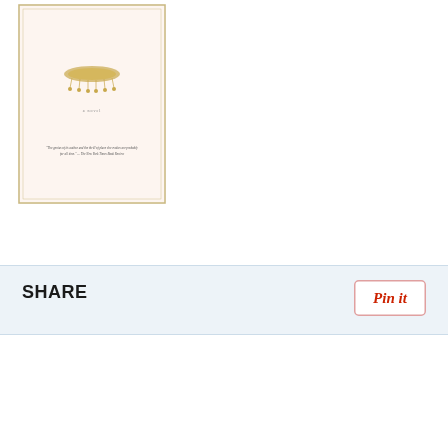[Figure (illustration): Book cover thumbnail showing a light pink/cream colored book cover with a golden decorative element (possibly a crown or headpiece) and small text including a quote from The New York Times Book Review]
SHARE
[Figure (other): Pinterest 'Pin it' button with red italic text on white background with light border]